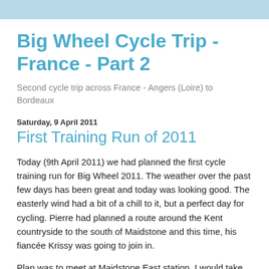Big Wheel Cycle Trip - France - Part 2
Second cycle trip across France - Angers (Loire) to Bordeaux
Saturday, 9 April 2011
First Training Run of 2011
Today (9th April 2011) we had planned the first cycle training run for Big Wheel 2011. The weather over the past few days has been great and today was looking good. The easterly wind had a bit of a chill to it, but a perfect day for cycling. Pierre had planned a route around the Kent countryside to the south of Maidstone and this time, his fiancée Krissy was going to join in.
Plan was to meet at Maidstone East station, I would take the